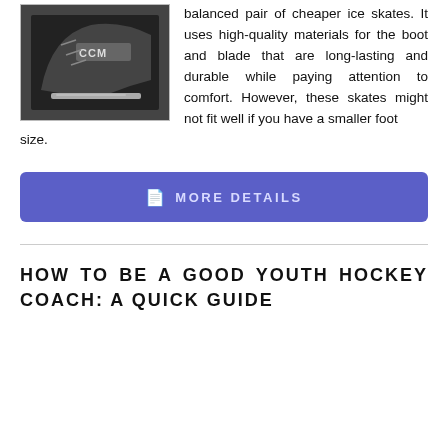[Figure (photo): Black and white close-up photo of a CCM ice hockey skate showing the blade and boot detail.]
balanced pair of cheaper ice skates. It uses high-quality materials for the boot and blade that are long-lasting and durable while paying attention to comfort. However, these skates might not fit well if you have a smaller foot size.
[Figure (other): Blue button with document icon and text 'MORE DETAILS' in uppercase letters.]
HOW TO BE A GOOD YOUTH HOCKEY COACH: A QUICK GUIDE